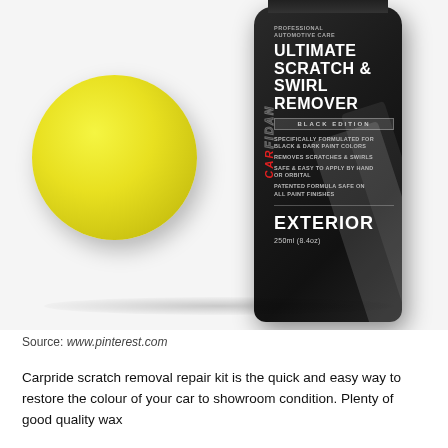[Figure (photo): Product photo of Carpride/Carfidan Ultimate Scratch & Swirl Remover Black Edition bottle (black cylindrical container, 250ml/8.4oz) next to a yellow foam applicator sponge ball, on a white background.]
Source: www.pinterest.com
Carpride scratch removal repair kit is the quick and easy way to restore the colour of your car to showroom condition. Plenty of good quality wax